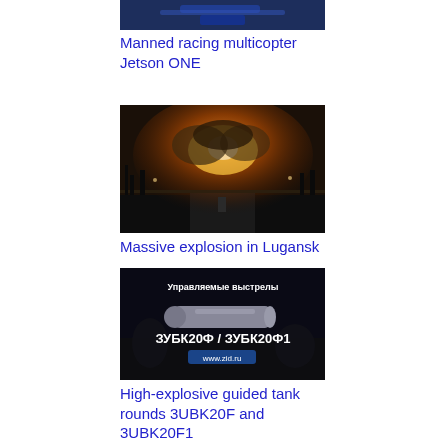[Figure (photo): Partial thumbnail of manned racing multicopter Jetson ONE, top portion visible]
Manned racing multicopter Jetson ONE
[Figure (photo): Night scene showing a massive explosion illuminating the sky over Lugansk, road visible in foreground]
Massive explosion in Lugansk
[Figure (photo): Russian language promotional image showing ЗУБК20Ф / ЗУБК20Ф1 guided tank rounds with text Управляемые выстрелы and www.zid.ru]
High-explosive guided tank rounds 3UBK20F and 3UBK20F1